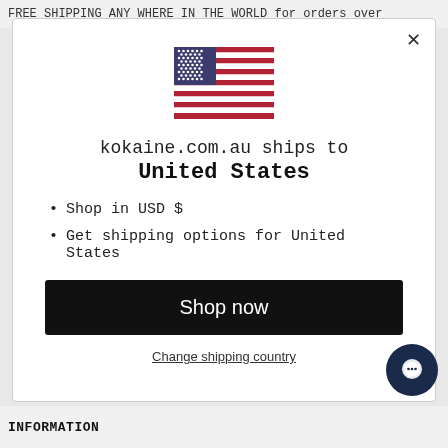FREE SHIPPING ANY WHERE IN THE WORLD for orders over
[Figure (illustration): US flag icon centered in modal dialog]
kokaine.com.au ships to
United States
Shop in USD $
Get shipping options for United States
Shop now
Change shipping country
INFORMATION